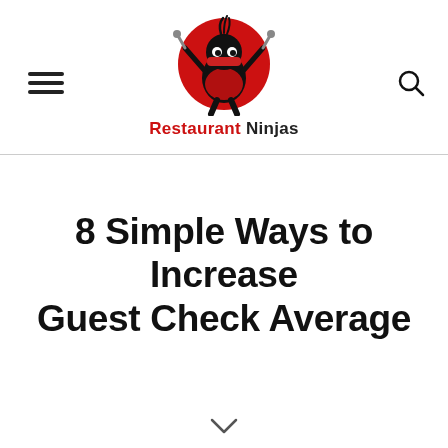[Figure (logo): Restaurant Ninjas logo: a ninja character in red circle with text 'Restaurant Ninjas' below]
8 Simple Ways to Increase Guest Check Average